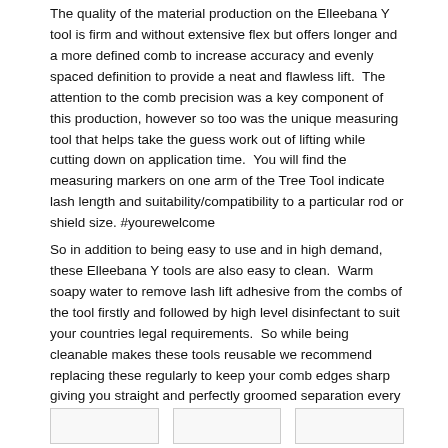The quality of the material production on the Elleebana Y tool is firm and without extensive flex but offers longer and a more defined comb to increase accuracy and evenly spaced definition to provide a neat and flawless lift.  The attention to the comb precision was a key component of this production, however so too was the unique measuring tool that helps take the guess work out of lifting while cutting down on application time.  You will find the measuring markers on one arm of the Tree Tool indicate lash length and suitability/compatibility to a particular rod or shield size. #yourewelcome
So in addition to being easy to use and in high demand, these Elleebana Y tools are also easy to clean.  Warm soapy water to remove lash lift adhesive from the combs of the tool firstly and followed by high level disinfectant to suit your countries legal requirements.  So while being cleanable makes these tools reusable we recommend replacing these regularly to keep your comb edges sharp giving you straight and perfectly groomed separation every time.
[Figure (photo): Three thumbnail images at the bottom of the page]